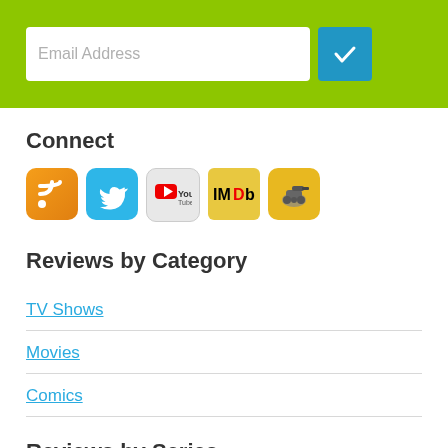[Figure (screenshot): Green bar at top with email address input field and blue checkmark button]
Connect
[Figure (infographic): Row of 5 social/media icons: RSS feed (orange), Twitter (blue), YouTube (grey), IMDb (gold), and a tank/game icon (yellow-orange)]
Reviews by Category
TV Shows
Movies
Comics
Reviews by Series